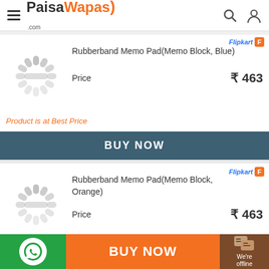PaisaWapas.com
[Figure (screenshot): Loading spinner (circular dashed loading indicator)]
Rubberband Memo Pad(Memo Block, Blue)
Price ₹463
Product is at Best Price
BUY NOW
[Figure (logo): Flipkart logo with orange F badge]
[Figure (screenshot): Loading spinner (circular dashed loading indicator)]
Rubberband Memo Pad(Memo Block, Orange)
Price ₹463
Product is at Best Price
[Figure (logo): Flipkart logo with orange F badge]
BUY NOW
We're offline